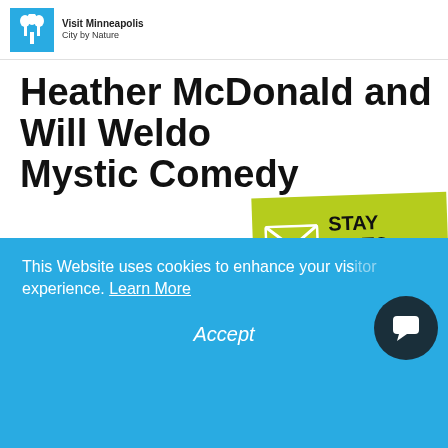City by Nature
Heather McDonald and Will Weldon Mystic Comedy
[Figure (logo): Stay Up To Date email badge - green rectangle with envelope icon and text STAY UP TO DATE]
Get your laughing on this new year!
This Website uses cookies to enhance your visitor experience. Learn More
Accept